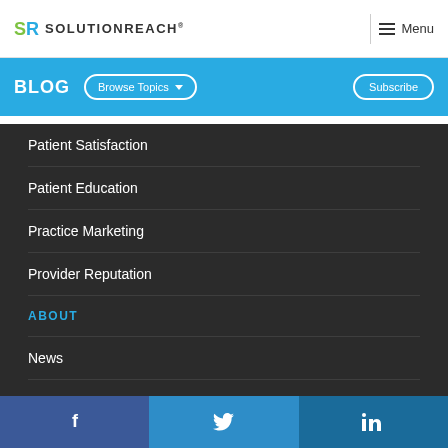SR SOLUTIONREACH
BLOG
Patient Satisfaction
Patient Education
Practice Marketing
Provider Reputation
ABOUT
News
Company
Leadership
f  Twitter  in